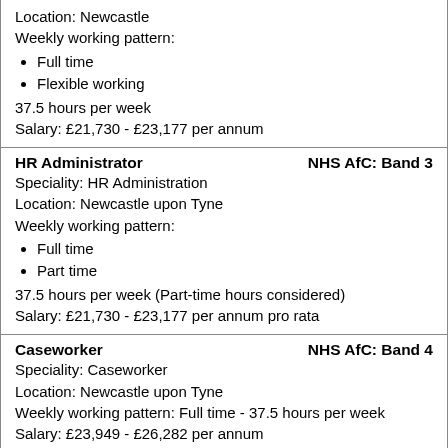Location: Newcastle
Weekly working pattern:
Full time
Flexible working
37.5 hours per week
Salary: £21,730 - £23,177 per annum
HR Administrator | NHS AfC: Band 3
Speciality: HR Administration
Location: Newcastle upon Tyne
Weekly working pattern:
Full time
Part time
37.5 hours per week (Part-time hours considered)
Salary: £21,730 - £23,177 per annum pro rata
Caseworker | NHS AfC: Band 4
Speciality: Caseworker
Location: Newcastle upon Tyne
Weekly working pattern: Full time - 37.5 hours per week
Salary: £23,949 - £26,282 per annum
Customer Contact Advisor | NHS AfC: Band 2